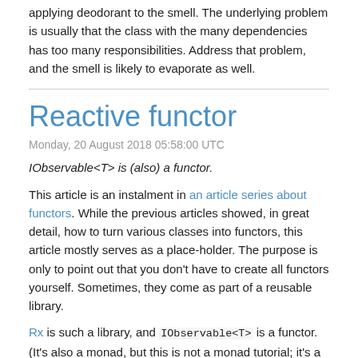applying deodorant to the smell. The underlying problem is usually that the class with the many dependencies has too many responsibilities. Address that problem, and the smell is likely to evaporate as well.
Reactive functor
Monday, 20 August 2018 05:58:00 UTC
IObservable<T> is (also) a functor.
This article is an instalment in an article series about functors. While the previous articles showed, in great detail, how to turn various classes into functors, this article mostly serves as a place-holder. The purpose is only to point out that you don't have to create all functors yourself. Sometimes, they come as part of a reusable library.
Rx is such a library, and IObservable<T> is a functor. (It's also a monad, but this is not a monad tutorial; it's a functor tutorial.) Reactive Extensions define a Select method for IObservable<T>, so if source is an IObservable<int>, you can translate it to IObservable<string>, like this: